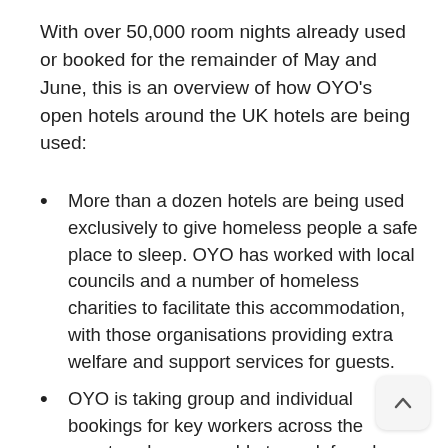With over 50,000 room nights already used or booked for the remainder of May and June, this is an overview of how OYO's open hotels around the UK hotels are being used:
More than a dozen hotels are being used exclusively to give homeless people a safe place to sleep. OYO has worked with local councils and a number of homeless charities to facilitate this accommodation, with those organisations providing extra welfare and support services for guests.
OYO is taking group and individual bookings for key workers across the country who are unable to work from home and need accommodation close to their place of work. These include public sector workers such as firefighters and prison officers; and work from the private sector.
Accommodation is being offered to healthcare